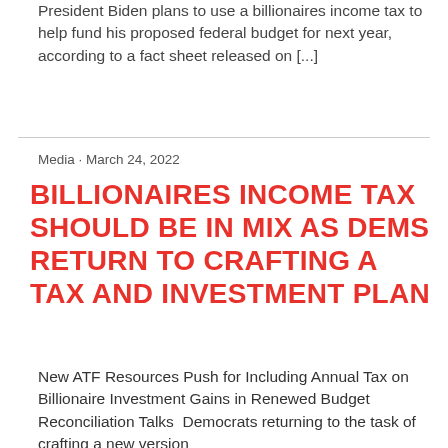President Biden plans to use a billionaires income tax to help fund his proposed federal budget for next year, according to a fact sheet released on [...]
Media · March 24, 2022
BILLIONAIRES INCOME TAX SHOULD BE IN MIX AS DEMS RETURN TO CRAFTING A TAX AND INVESTMENT PLAN
New ATF Resources Push for Including Annual Tax on Billionaire Investment Gains in Renewed Budget Reconciliation Talks  Democrats returning to the task of crafting a new version